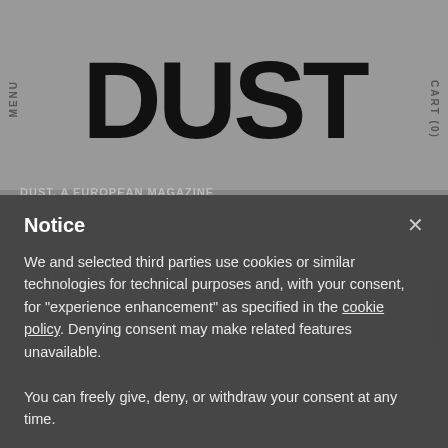DUST
Notice
We and selected third parties use cookies or similar technologies for technical purposes and, with your consent, for "experience enhancement" as specified in the cookie policy. Denying consent may make related features unavailable.
You can freely give, deny, or withdraw your consent at any time.
You can consent to the use of such technologies by using the "Accept" button. By closing this notice, you continue without accepting.
Reject | Accept
Learn more and customize